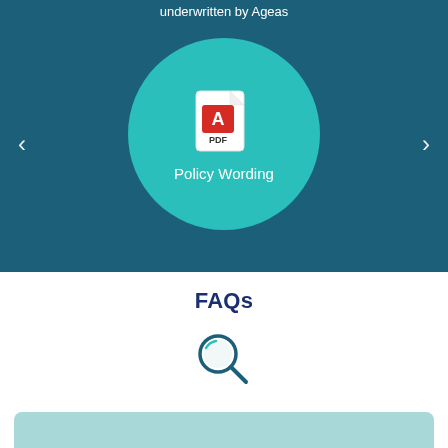underwritten by Ageas
[Figure (illustration): Teal circular button with a PDF icon and the label 'Policy Wording' on a dark teal background, with left and right navigation arrows]
FAQs
[Figure (illustration): Teal magnifying glass search icon]